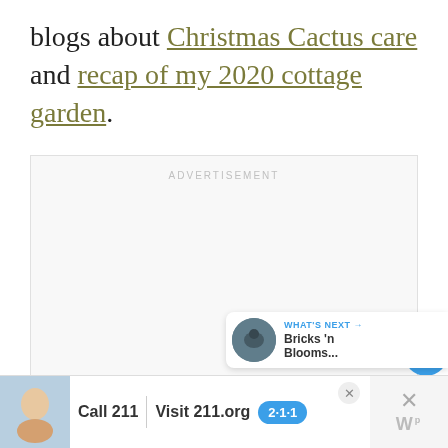blogs about Christmas Cactus care and recap of my 2020 cottage garden.
[Figure (other): Advertisement placeholder box with 'ADVERTISEMENT' label, heart/like button showing 89 likes, share button, and 'What's Next' preview showing Bricks 'n Blooms...]
[Figure (other): Bottom banner advertisement: Call 211 | Visit 211.org with 2-1-1 badge, featuring image of child, with close buttons]